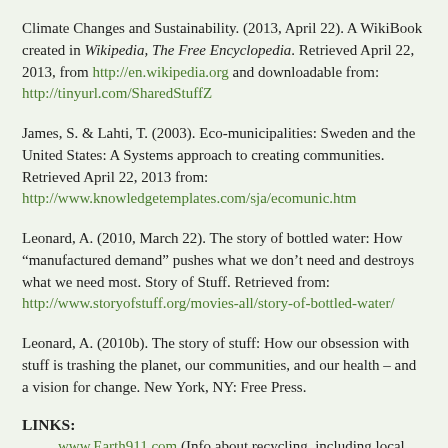Climate Changes and Sustainability. (2013, April 22). A WikiBook created in Wikipedia, The Free Encyclopedia. Retrieved April 22, 2013, from http://en.wikipedia.org and downloadable from: http://tinyurl.com/SharedStuffZ
James, S. & Lahti, T. (2003). Eco-municipalities: Sweden and the United States: A Systems approach to creating communities. Retrieved April 22, 2013 from: http://www.knowledgetemplates.com/sja/ecomunic.htm
Leonard, A. (2010, March 22). The story of bottled water: How "manufactured demand" pushes what we don't need and destroys what we need most. Story of Stuff. Retrieved from: http://www.storyofstuff.org/movies-all/story-of-bottled-water/
Leonard, A. (2010b). The story of stuff: How our obsession with stuff is trashing the planet, our communities, and our health – and a vision for change. New York, NY: Free Press.
LINKS:
www.Earth911.com (Info about recycling, including local